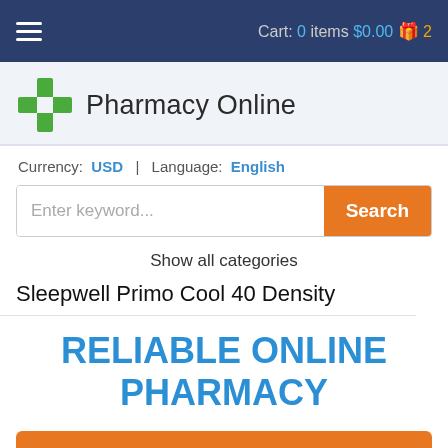Cart: 0 items $0.00 2
Pharmacy Online
Currency: USD | Language: English
Enter keyword... Search
Show all categories
Sleepwell Primo Cool 40 Density
RELIABLE ONLINE PHARMACY
> Click here to order now